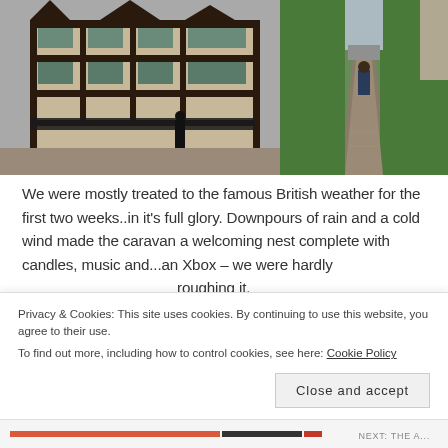[Figure (photo): Two photos side by side: left shows a historic Tudor-style black-and-white timber-framed building on a street; right shows a person walking down a narrow stone path flanked by tall green hedges near a castle wall.]
We were mostly treated to the famous British weather for the first two weeks..in it's full glory. Downpours of rain and a cold wind made the caravan a welcoming nest complete with candles, music and...an Xbox – we were hardly roughing it.
[Figure (photo): Partial photo of what appears to be a laptop or tablet, partially cut off at bottom of page.]
Privacy & Cookies: This site uses cookies. By continuing to use this website, you agree to their use.
To find out more, including how to control cookies, see here: Cookie Policy
Close and accept